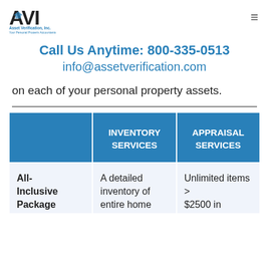Asset Verification, Inc. — Your Personal Property Accountants
Call Us Anytime: 800-335-0513
info@assetverification.com
on each of your personal property assets.
|  | INVENTORY SERVICES | APPRAISAL SERVICES |
| --- | --- | --- |
| All-Inclusive Package | A detailed inventory of entire home | Unlimited items > $2500 in |